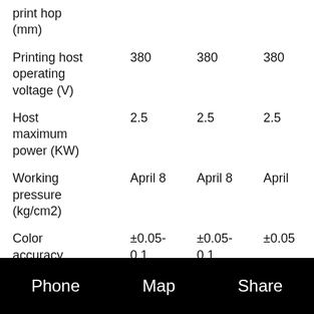| Parameter | Value 1 | Value 2 | Value 3 |
| --- | --- | --- | --- |
| print hop (mm) |  |  |  |
| Printing host operating voltage (V) | 380 | 380 | 380 |
| Host maximum power (KW) | 2.5 | 2.5 | 2.5 |
| Working pressure (kg/cm2) | April 8 | April 8 | April |
| Color accuracy (...) | ±0.05-0.1 | ±0.05-0.1 | ±0.05 |
Phone    Map    Share